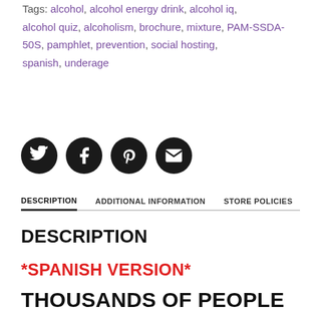Tags: alcohol, alcohol energy drink, alcohol iq, alcohol quiz, alcoholism, brochure, mixture, PAM-SSDA-50S, pamphlet, prevention, social hosting, spanish, underage
[Figure (other): Four social media icon buttons: Twitter, Facebook, Pinterest, Email — black circles with white icons]
DESCRIPTION | ADDITIONAL INFORMATION | STORE POLICIES
DESCRIPTION
*SPANISH VERSION*
THOUSANDS OF PEOPLE DIE EVERY YEAR AS A RESULT OF